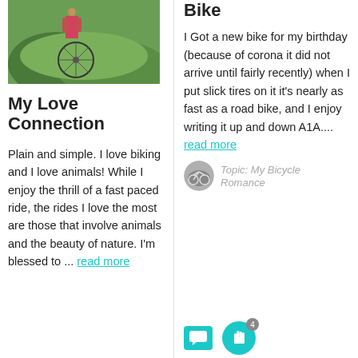[Figure (photo): A photo showing a person with a bicycle outdoors in greenery]
My Love Connection
Plain and simple. I love biking and I love animals! While I enjoy the thrill of a fast paced ride, the rides I love the most are those that involve animals and the beauty of nature. I'm blessed to ... read more
Bike
I Got a new bike for my birthday (because of corona it did not arrive until fairly recently) when I put slick tires on it it's nearly as fast as a road bike, and I enjoy writing it up and down A1A.... read more
[Figure (photo): Small circular avatar image of a bicycle]
Topic: My Bicycle Romance
[Figure (infographic): Chat bubble icon (teal) and hand icon (teal) with number 4]